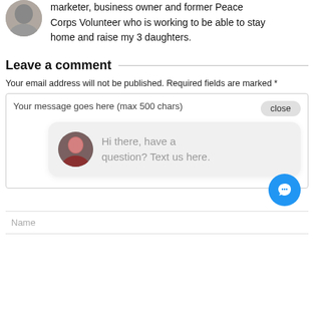marketer, business owner and former Peace Corps Volunteer who is working to be able to stay home and raise my 3 daughters.
Leave a comment
Your email address will not be published. Required fields are marked *
[Figure (screenshot): Comment form text area with placeholder 'Your message goes here (max 500 chars)' and a close button, overlaid with a chat popup showing a woman's avatar and text 'Hi there, have a question? Text us here.' and a blue chat FAB button]
Name